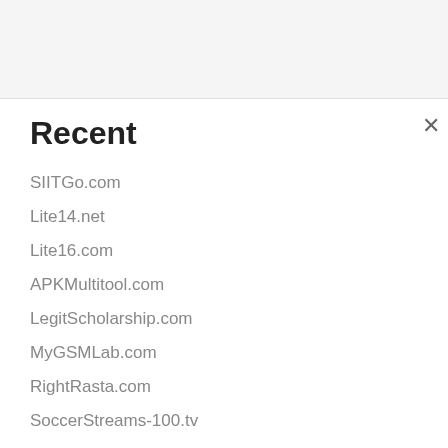Recent
SIITGo.com
Lite14.net
Lite16.com
APKMultitool.com
LegitScholarship.com
MyGSMLab.com
RightRasta.com
SoccerStreams-100.tv
DabaDoc.com
LuckyPatchers.com